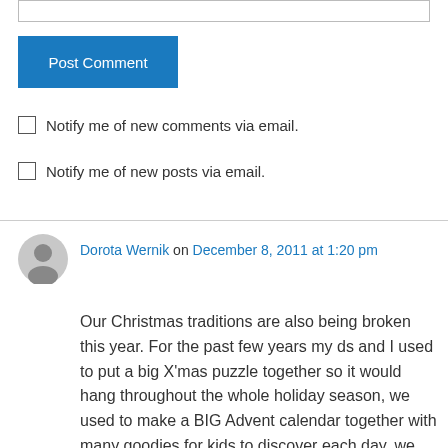[Figure (screenshot): Input text box at top of page]
Post Comment
Notify me of new comments via email.
Notify me of new posts via email.
Dorota Wernik on December 8, 2011 at 1:20 pm
Our Christmas traditions are also being broken this year. For the past few years my ds and I used to put a big X'mas puzzle together so it would hang throughout the whole holiday season, we used to make a BIG Advent calendar together with many goodies for kids to discover each day, we used to decorate our balconies